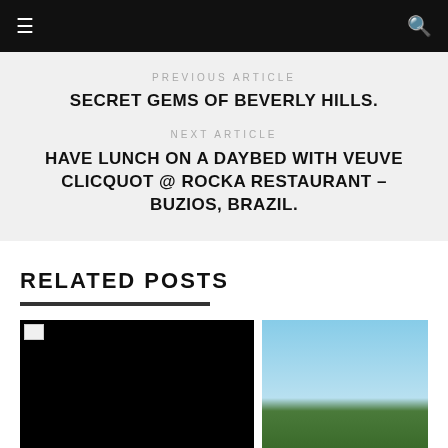≡  🔍
PREVIOUS ARTICLE
SECRET GEMS OF BEVERLY HILLS.
NEXT ARTICLE
HAVE LUNCH ON A DAYBED WITH VEUVE CLICQUOT @ ROCKA RESTAURANT – BUZIOS, BRAZIL.
RELATED POSTS
[Figure (photo): Two related post thumbnail images side by side. Left image is black (broken/loading image placeholder). Right image shows trees and a colorful building against a blue sky.]